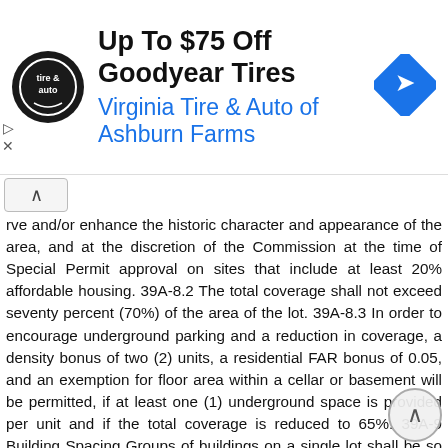[Figure (other): Advertisement banner for Virginia Tire & Auto of Ashburn Farms - Up To $75 Off Goodyear Tires]
rve and/or enhance the historic character and appearance of the area, and at the discretion of the Commission at the time of Special Permit approval on sites that include at least 20% affordable housing. 39A-8.2 The total coverage shall not exceed seventy percent (70%) of the area of the lot. 39A-8.3 In order to encourage underground parking and a reduction in coverage, a density bonus of two (2) units, a residential FAR bonus of 0.05, and an exemption for floor area within a cellar or basement will be permitted, if at least one (1) underground space is provided per unit and if the total coverage is reduced to 65%. 39A-9 Building Spacing Groups of buildings on a single lot shall be so arranged that the minimum horizontal distance between the nearest walls or corners of any principal and/or accessory detached buildings shall not be less than ten (10) feet. 39A-10 Floor Area 39A-10.1 Total Maximum: No one floor shall exceed an area of 2,500 square feet in the residentially zoned portion of the lot.